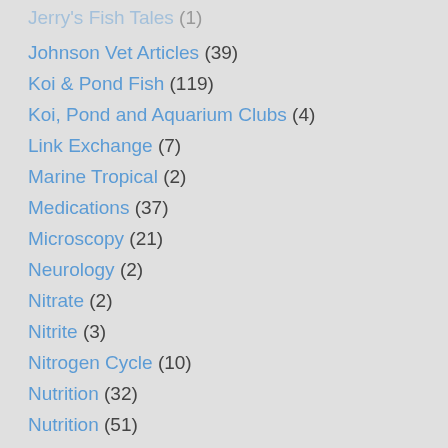Jerry's Fish Tales (1)
Johnson Vet Articles (39)
Koi & Pond Fish (119)
Koi, Pond and Aquarium Clubs (4)
Link Exchange (7)
Marine Tropical (2)
Medications (37)
Microscopy (21)
Neurology (2)
Nitrate (2)
Nitrite (3)
Nitrogen Cycle (10)
Nutrition (32)
Nutrition (51)